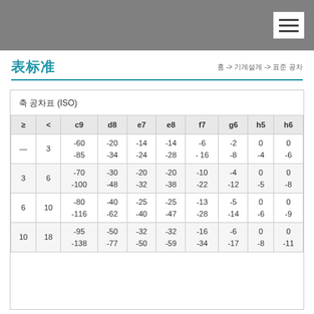표준 공차
홈 -> 기계설계 -> 표준 공차
축 공차표 (ISO)
| ≥ | < | c9 | d8 | e7 | e8 | f7 | g6 | h5 | h6 |
| --- | --- | --- | --- | --- | --- | --- | --- | --- | --- |
| — | 3 | -60
-85 | -20
-34 | -14
-24 | -14
-28 | -6
- 16 | -2
-8 | 0
-4 | 0
-6 |
| 3 | 6 | -70
-100 | -30
-48 | -20
-32 | -20
-38 | -10
-22 | -4
-12 | 0
-5 | 0
-8 |
| 6 | 10 | -80
-116 | -40
-62 | -25
-40 | -25
-47 | -13
-28 | -5
-14 | 0
-6 | 0
-9 |
| 10 | 18 | -95
-138 | -50
-77 | -32
-50 | -32
-59 | -16
-34 | -6
-17 | 0
-8 | 0
-11 |